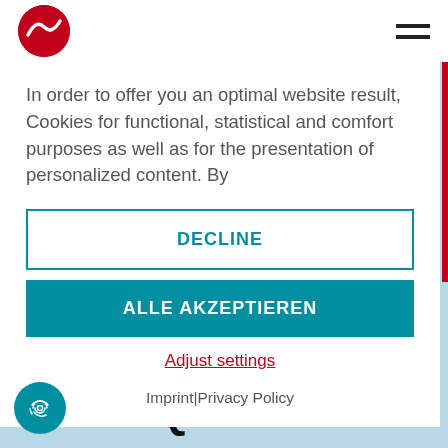[Figure (logo): Red circular logo with white wave/bird shape, top left header]
[Figure (other): Hamburger menu icon, two horizontal dark lines, top right]
In order to offer you an optimal website result, Cookies for functional, statistical and comfort purposes as well as for the presentation of personalized content. By
DECLINE
ALLE AKZEPTIEREN
Adjust settings
Imprint|Privacy Policy
SEQUENCE
[Figure (other): Fingerprint icon in teal circle, bottom left]